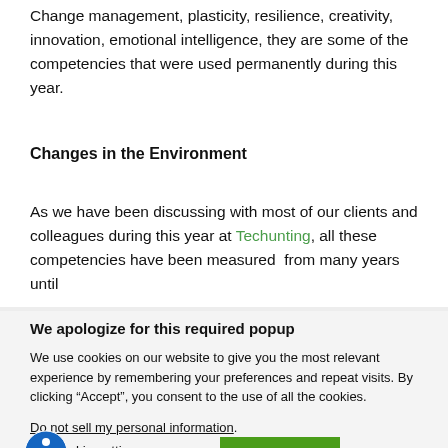Change management, plasticity, resilience, creativity, innovation, emotional intelligence, they are some of the competencies that were used permanently during this year.
Changes in the Environment
As we have been discussing with most of our clients and colleagues during this year at Techunting, all these competencies have been measured  from many years until
We apologize for this required popup
We use cookies on our website to give you the most relevant experience by remembering your preferences and repeat visits. By clicking “Accept”, you consent to the use of all the cookies.
Do not sell my personal information.
kie settings   ACCEPT